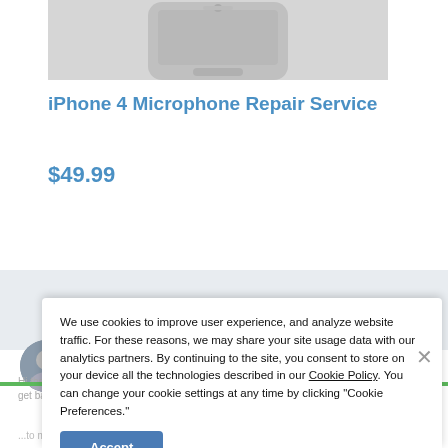[Figure (photo): Partial product image of an iPhone at the top of the page, cropped]
iPhone 4 Microphone Repair Service
$49.99
We use cookies to improve user experience, and analyze website traffic. For these reasons, we may share your site usage data with our analytics partners. By continuing to the site, you consent to store on your device all the technologies described in our Cookie Policy. You can change your cookie settings at any time by clicking “Cookie Preferences.”
Accept
Chris - Master Tech and Customer Service Extraordinaire fro...
Hi there! We’re away right now, but if you leave us a message with your email address, we’ll get back to you as soon as we return in the morning!
...to make the repair process easy, safe, and simpler